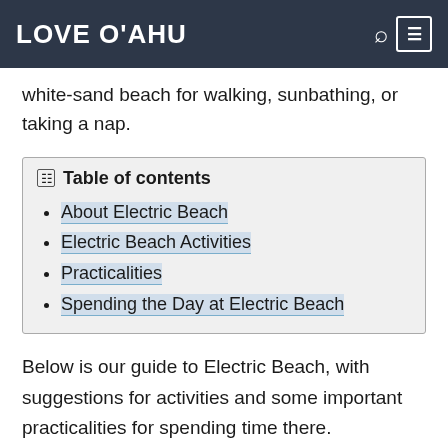LOVE O'AHU
white-sand beach for walking, sunbathing, or taking a nap.
| Table of contents |
| --- |
| About Electric Beach |
| Electric Beach Activities |
| Practicalities |
| Spending the Day at Electric Beach |
Below is our guide to Electric Beach, with suggestions for activities and some important practicalities for spending time there.